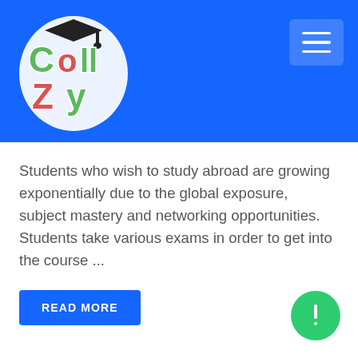[Figure (logo): Collzy logo — colorful hand-drawn letters C, O, L, L, Z, Y with a graduation cap on the C, on a blue background]
Students who wish to study abroad are growing exponentially due to the global exposure, subject mastery and networking opportunities. Students take various exams in order to get into the course ...
READ MORE